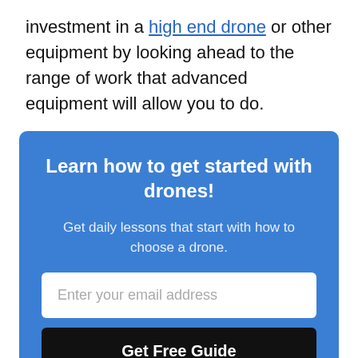investment in a high end drone or other equipment by looking ahead to the range of work that advanced equipment will allow you to do.
Learn how to get started with drones!
Get daily lessons that start with how to choose a drone.
Enter your email address
Get Free Guide
By subscribing, you agree to get emails from